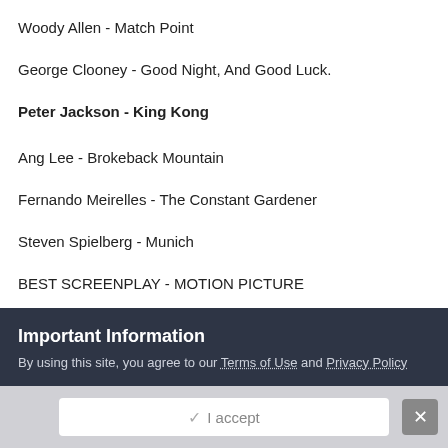Woody Allen - Match Point
George Clooney - Good Night, And Good Luck.
Peter Jackson - King Kong
Ang Lee - Brokeback Mountain
Fernando Meirelles - The Constant Gardener
Steven Spielberg - Munich
BEST SCREENPLAY - MOTION PICTURE
Woody Allen - Match Point
George Clooney & Grant Heslov - Good Night, And Good Luck.
Important Information
By using this site, you agree to our Terms of Use and Privacy Policy
I accept